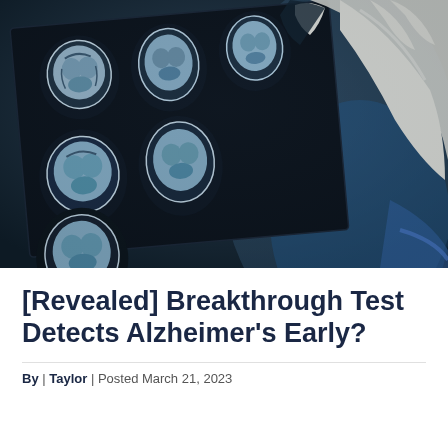[Figure (photo): A medical professional in blue scrubs and white gloves holds up a sheet of brain MRI/CT scan films showing multiple cross-sectional skull images against a light background.]
[Revealed] Breakthrough Test Detects Alzheimer's Early?
By | Taylor | Posted March 21, 2023